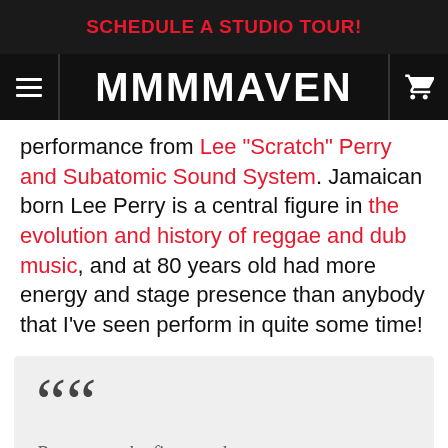SCHEDULE A STUDIO TOUR!
[Figure (logo): MMMMAVEN website navigation bar with hamburger menu, logo text MMMMAVEN, and shopping cart icon]
performance from Lee “Scratch” Perry and Subatomic Sound System. Jamaican born Lee Perry is a central figure in the evolution and history of reggae and dub music, and at 80 years old had more energy and stage presence than anybody that I’ve seen perform in quite some time!
““ Perry was the first producer to ever appear as an artist on an album cover, proving the creative capabilities of the studio as an art form itself. Producing